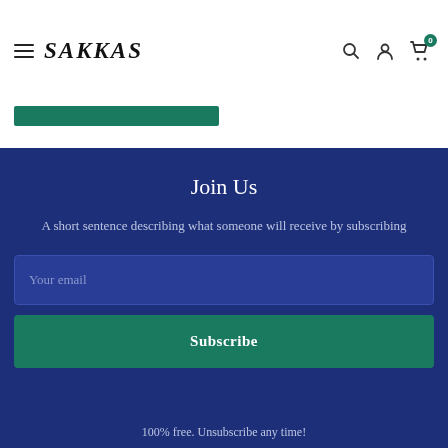SAKKAS
[Figure (screenshot): Teal/green rectangular bar below navigation header]
Join Us
A short sentence describing what someone will receive by subscribing
Your email
Subscribe
100% free. Unsubscribe any time!